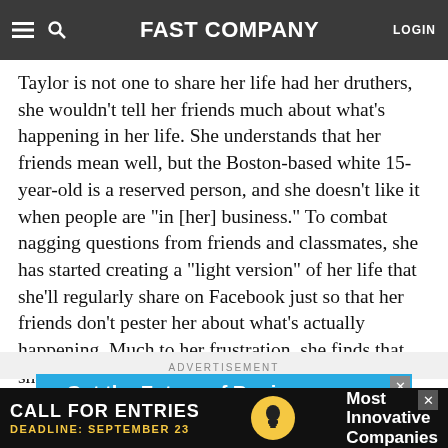FAST COMPANY | LOGIN
Taylor is not one to share her life had her druthers, she wouldn't tell her friends much about what's happening in her life. She understands that her friends mean well, but the Boston-based white 15-year-old is a reserved person, and she doesn't like it when people are "in [her] business." To combat nagging questions from friends and classmates, she has started creating a "light version" of her life that she'll regularly share on Facebook just so that her friends don't pester her about what's actually happening. Much to her frustration, she finds that sharing at least a little bit affords her more privacy than sharing nothing at all.
ADVERTISEMENT
[Figure (other): Blue advertisement banner: Get the Future of Business on Your Mobile Device Today!]
[Figure (other): Black advertisement bar: CALL FOR ENTRIES - DEADLINE: SEPTEMBER 23 - Most Innovative Companies]